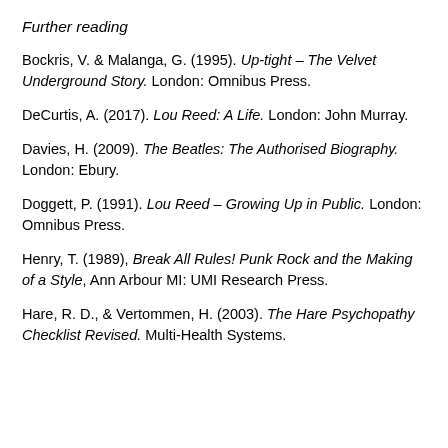Further reading
Bockris, V. & Malanga, G. (1995). Up-tight – The Velvet Underground Story. London: Omnibus Press.
DeCurtis, A. (2017). Lou Reed: A Life. London: John Murray.
Davies, H. (2009). The Beatles: The Authorised Biography. London: Ebury.
Doggett, P. (1991). Lou Reed – Growing Up in Public. London: Omnibus Press.
Henry, T. (1989), Break All Rules! Punk Rock and the Making of a Style, Ann Arbour MI: UMI Research Press.
Hare, R. D., & Vertommen, H. (2003). The Hare Psychopathy Checklist Revised. Multi-Health Systems.